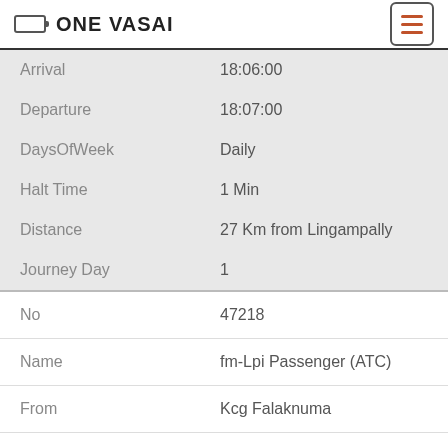ONE VASAI
| Field | Value |
| --- | --- |
| Arrival | 18:06:00 |
| Departure | 18:07:00 |
| DaysOfWeek | Daily |
| Halt Time | 1 Min |
| Distance | 27 Km from Lingampally |
| Journey Day | 1 |
| Field | Value |
| --- | --- |
| No | 47218 |
| Name | fm-Lpi Passenger (ATC) |
| From | Kcg Falaknuma |
| To | Lingampally |
| Arrival | 18:21:00 |
| Departure | 18:22:00 |